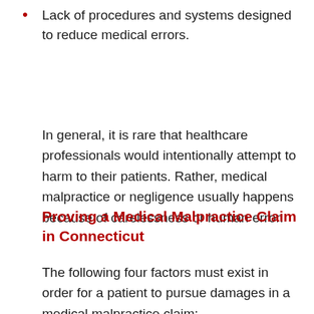Lack of procedures and systems designed to reduce medical errors.
In general, it is rare that healthcare professionals would intentionally attempt to harm to their patients. Rather, medical malpractice or negligence usually happens because of carelessness or human error.
Proving a Medical Malpractice Claim in Connecticut
The following four factors must exist in order for a patient to pursue damages in a medical malpractice claim: